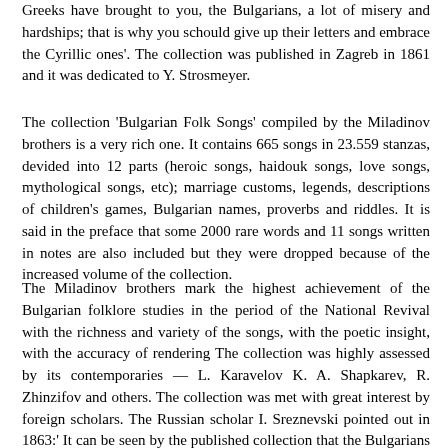Greeks have brought to you, the Bulgarians, a lot of misery and hardships; that is why you schould give up their letters and embrace the Cyrillic ones'. The collection was published in Zagreb in 1861 and it was dedicated to Y. Strosmeyer.
The collection 'Bulgarian Folk Songs' compiled by the Miladinov brothers is a very rich one. It contains 665 songs in 23.559 stanzas, devided into 12 parts (heroic songs, haidouk songs, love songs, mythological songs, etc); marriage customs, legends, descriptions of children's games, Bulgarian names, proverbs and riddles. It is said in the preface that some 2000 rare words and 11 songs written in notes are also included but they were dropped because of the increased volume of the collection.
The Miladinov brothers mark the highest achievement of the Bulgarian folklore studies in the period of the National Revival with the richness and variety of the songs, with the poetic insight, with the accuracy of rendering The collection was highly assessed by its contemporaries — L. Karavelov K. A. Shapkarev, R. Zhinzifov and others. The collection was met with great interest by foreign scholars. The Russian scholar I. Sreznevski pointed out in 1863:' It can be seen by the published collection that the Bulgarians far from lagging behind other peoples in poetic abilities even surpass them with the vitality of their poetry...' Soon parts of the collection were translated in Czech, Russian and German. The collection compiled by the Miladinov brothers has been lost to